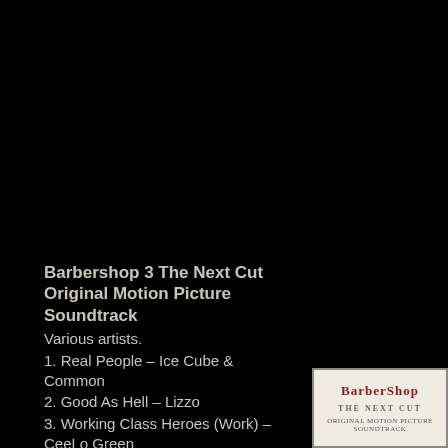Barbershop 3 The Next Cut Original Motion Picture Soundtrack
Various artists.
1. Real People – Ice Cube & Common
2. Good As Hell – Lizzo
3. Working Class Heroes (Work) – CeeLo Green
4. Everything Is – Gabriel Garzón-Montano
5. It's Just Begun – The Jimmy Castor Bunch6
6. Let Go – Lalah Hathaway
[Figure (photo): Album cover for Barbershop: The Next Cut Original Motion Picture Soundtrack showing the BarberShop logo in red serif font on a light background with subtitle text below]